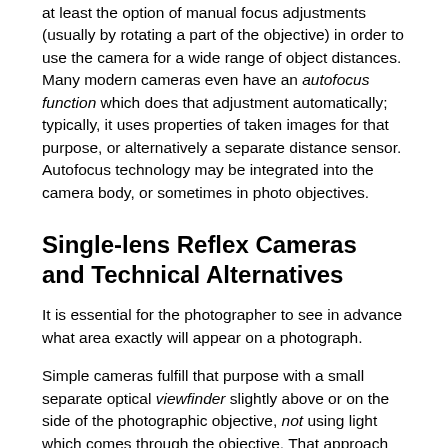at least the option of manual focus adjustments (usually by rotating a part of the objective) in order to use the camera for a wide range of object distances. Many modern cameras even have an autofocus function which does that adjustment automatically; typically, it uses properties of taken images for that purpose, or alternatively a separate distance sensor. Autofocus technology may be integrated into the camera body, or sometimes in photo objectives.
Single-lens Reflex Cameras and Technical Alternatives
It is essential for the photographer to see in advance what area exactly will appear on a photograph.
Simple cameras fulfill that purpose with a small separate optical viewfinder slightly above or on the side of the photographic objective, not using light which comes through the objective. That approach has severe disadvantages, however: the slightly different perspective results in a somewhat inaccurate result.